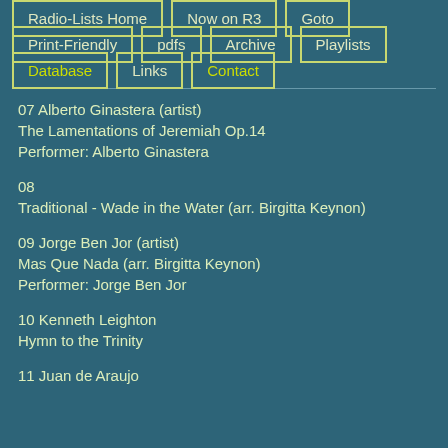Radio-Lists Home
Now on R3
Goto
Print-Friendly
pdfs
Archive
Playlists
Database
Links
Contact
07 Alberto Ginastera (artist)
The Lamentations of Jeremiah Op.14
Performer: Alberto Ginastera
08
Traditional - Wade in the Water (arr. Birgitta Keynon)
09 Jorge Ben Jor (artist)
Mas Que Nada (arr. Birgitta Keynon)
Performer: Jorge Ben Jor
10 Kenneth Leighton
Hymn to the Trinity
11 Juan de Araujo